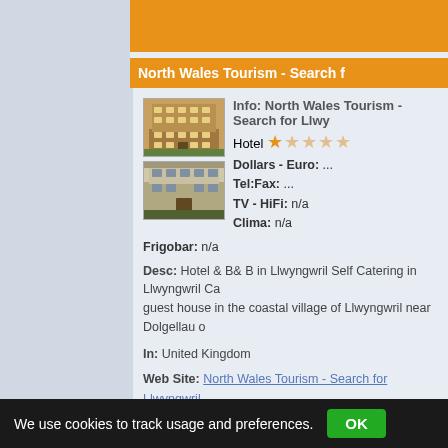North Wales Tourism - Search f...
Info: North Wales Tourism - Search for Llwy...
Hotel ★☆☆☆☆
Dollars - Euro: ...
Tel:Fax: ...
TV - HiFi: n/a
Clima: n/a
Frigobar: n/a
Desc: Hotel & B& B in Llwyngwril Self Catering in Llwyngwril Ca... guest house in the coastal village of Llwyngwril near Dolgellau o...
In: United Kingdom
Web Site: North Wales Tourism - Search for Llwyngwril
Web Link: http://www.nwt.co.uk/search.php?search=Llwyngwril&...
Aberdyfi / Aberdovey - Official Site - Ac...
We use cookies to track usage and preferences. OK